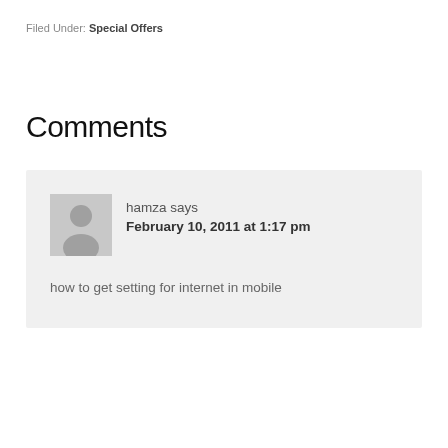Filed Under: Special Offers
Comments
hamza says
February 10, 2011 at 1:17 pm

how to get setting for internet in mobile